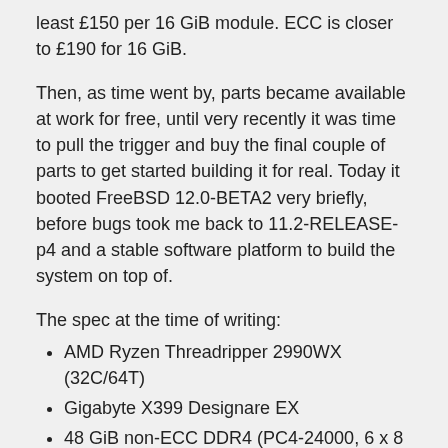least £150 per 16 GiB module. ECC is closer to £190 for 16 GiB.
Then, as time went by, parts became available at work for free, until very recently it was time to pull the trigger and buy the final couple of parts to get started building it for real. Today it booted FreeBSD 12.0-BETA2 very briefly, before bugs took me back to 11.2-RELEASE-p4 and a stable software platform to build the system on top of.
The spec at the time of writing:
AMD Ryzen Threadripper 2990WX (32C/64T)
Gigabyte X399 Designare EX
48 GiB non-ECC DDR4 (PC4-24000, 6 x 8 GiB)
Samsung 970 Pro 512 GB M.2 NVMe
Radeon RX Vega 64
Noctua U14S TR4-SP3
I'll start to blog a bit more about the system as I bring up the